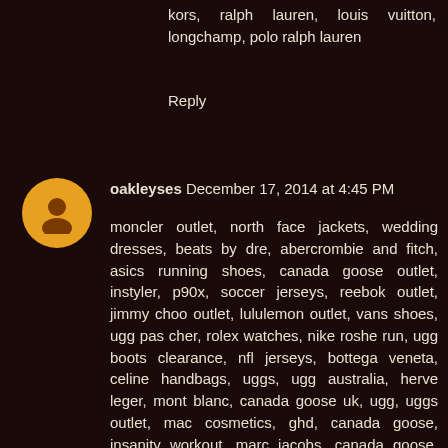kors, ralph lauren, louis vuitton, longchamp, polo ralph lauren
Reply
oakleyses December 17, 2014 at 4:45 PM
moncler outlet, north face jackets, wedding dresses, beats by dre, abercrombie and fitch, asics running shoes, canada goose outlet, instyler, p90x, soccer jerseys, reebok outlet, jimmy choo outlet, lululemon outlet, vans shoes, ugg pas cher, rolex watches, nike roshe run, ugg boots clearance, nfl jerseys, bottega veneta, celine handbags, uggs, ugg australia, herve leger, mont blanc, canada goose uk, ugg, uggs outlet, mac cosmetics, ghd, canada goose, insanity workout, marc jacobs, canada goose, ferragamo shoes, valentino shoes, mcm handbags, north face outlet, moncler, chi flat iron, babyliss pro, canada goose jackets, canada goose, ugg boots, giuseppe zanotti, birkin bag, ugg boots, new balance shoes, soccer shoes